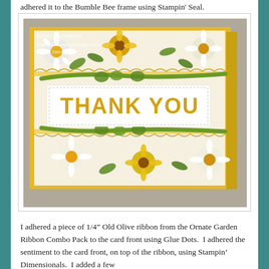adhered it to the Bumble Bee frame using Stampin' Seal.
[Figure (photo): A handmade 'Thank You' greeting card featuring a floral pattern with daisies and sunflowers in yellow, orange, white, and green. The card has a decorative die-cut lace border, green ribbon, and bold yellow 'THANK YOU' sentiment on a white panel. Watermark reads 'Karen Ksenzakovic creativestampingdesigns.com'.]
I adhered a piece of 1/4" Old Olive ribbon from the Ornate Garden Ribbon Combo Pack to the card front using Glue Dots.  I adhered the sentiment to the card front, on top of the ribbon, using Stampin' Dimensionals.  I added a few